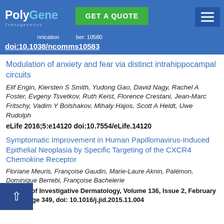PolyGene Transgenetics | GET A QUOTE | Number: 10580 | doi:10.1038/ncomms10583
Modulation of anxiety and fear via distinct intrahippocampal circuits
Elif Engin, Kiersten S Smith, Yudong Gao, David Nagy, Rachel A Foster, Evgeny Tsvetkov, Ruth Keist, Florence Crestani, Jean-Marc Fritschy, Vadim Y Bolshakov, Mihaly Hajos, Scott A Heldt, Uwe Rudolph
eLife 2016;5:e14120 doi:10.7554/eLife.14120
Symptomatic Improvement in Human Papillomavirus-Induced Epithelial Neoplasia by Specific Targeting of the CXCR4 Chemokine Receptor
Floriane Meuris, Françoise Gaudin, Marie-Laure Aknin, Pascaline Rémon, Dominique Berrebi, Françoise Bachelerie
Journal of Investigative Dermatology, Volume 136, Issue 2, February 2016, Page 349, doi: 10.1016/j.jid.2015.11.004